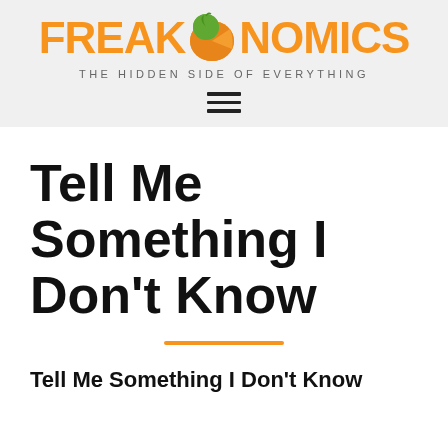FREAKONOMICS — THE HIDDEN SIDE OF EVERYTHING
Tell Me Something I Don't Know
Tell Me Something I Don't Know